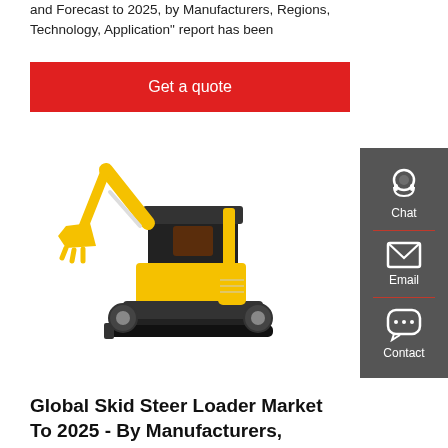and Forecast to 2025, by Manufacturers, Regions, Technology, Application" report has been
Get a quote
[Figure (photo): Yellow mini excavator / compact tracked excavator with raised arm and bucket, on white background]
[Figure (infographic): Sidebar with chat, email, and contact icons on dark grey background]
Global Skid Steer Loader Market To 2025 - By Manufacturers,